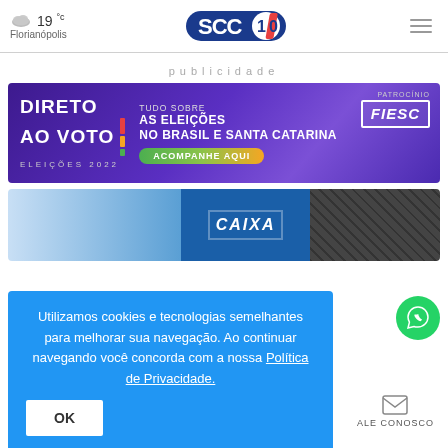19°c Florianópolis | SCC10 | [hamburger menu]
publicidade
[Figure (screenshot): Banner 'Direto ao Voto – Eleições 2022' about elections in Brasil e Santa Catarina, sponsored by FIESC. Green button 'ACOMPANHE AQUI'.]
[Figure (screenshot): Partial image showing Caixa Econômica Federal building signage in blue and white.]
Utilizamos cookies e tecnologias semelhantes para melhorar sua navegação. Ao continuar navegando você concorda com a nossa Política de Privacidade.
OK
ALE CONOSCO